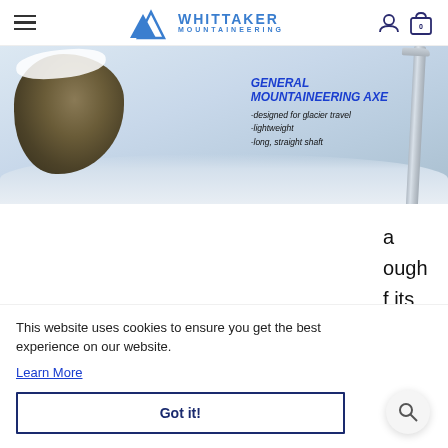Whittaker Mountaineering - navigation header with hamburger menu, logo, user icon, and cart icon (0 items)
[Figure (photo): Hero banner image showing a snowy mountain scene with a rock outcropping on the left, a mountaineering ice axe on the right, and overlay text reading 'GENERAL MOUNTAINEERING AXE - designed for glacier travel - lightweight - long, straight shaft']
This website uses cookies to ensure you get the best experience on our website.
Learn More
Got it!